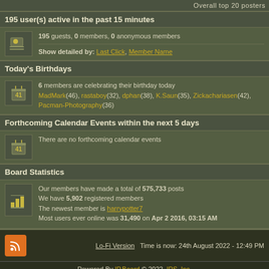Overall top 20 posters
195 user(s) active in the past 15 minutes
195 guests, 0 members, 0 anonymous members
Show detailed by: Last Click, Member Name
Today's Birthdays
6 members are celebrating their birthday today
MadMark(46), rastaboy(32), dphan(38), K.Saun(35), Zickachariasen(42), Pacman-Photography(36)
Forthcoming Calendar Events within the next 5 days
There are no forthcoming calendar events
Board Statistics
Our members have made a total of 575,733 posts
We have 5,902 registered members
The newest member is harrypotter7
Most users ever online was 31,490 on Apr 2 2016, 03:15 AM
Lo-Fi Version  Time is now: 24th August 2022 - 12:49 PM
Powered By IP.Board © 2022  IPS, Inc.